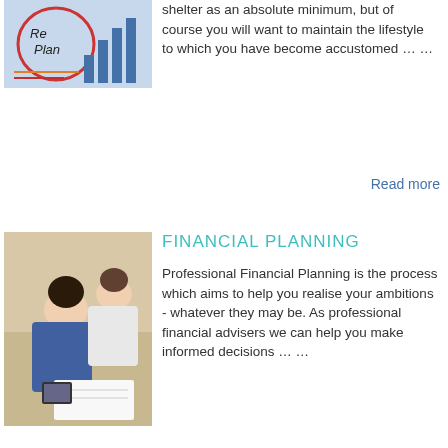[Figure (photo): Retirement plan notebook with bar chart and colorful elements]
shelter as an absolute minimum, but of course you will want to maintain the lifestyle to which you have become accustomed … …
Read more
[Figure (photo): Two young people lying on floor looking at documents together]
FINANCIAL PLANNING
Professional Financial Planning is the process which aims to help you realise your ambitions - whatever they may be. As professional financial advisers we can help you make informed decisions … …
Read more
1 2
We use cookies on this site to enhance your user experience
By using this site, you agree to our use of cookies. Learn More
Yes